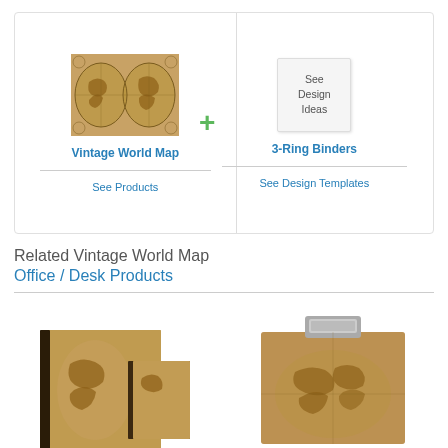[Figure (illustration): Vintage World Map product thumbnail image]
Vintage World Map
See Products
[Figure (illustration): See Design Ideas placeholder box for 3-Ring Binders]
3-Ring Binders
See Design Templates
Related Vintage World Map Office / Desk Products
[Figure (photo): Vintage World Map 3-ring binder / notebook product photo]
[Figure (photo): Vintage World Map clipboard product photo]